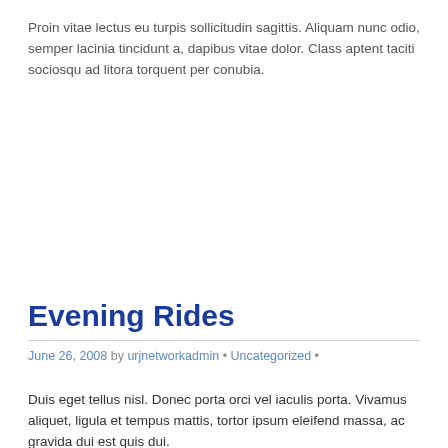Proin vitae lectus eu turpis sollicitudin sagittis. Aliquam nunc odio, semper lacinia tincidunt a, dapibus vitae dolor. Class aptent taciti sociosqu ad litora torquent per conubia.
Evening Rides
June 26, 2008 by urjnetworkadmin • Uncategorized •
Duis eget tellus nisl. Donec porta orci vel iaculis porta. Vivamus aliquet, ligula et tempus mattis, tortor ipsum eleifend massa, ac gravida dui est quis dui.